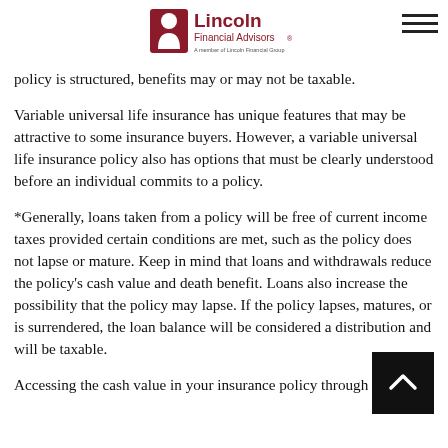Lincoln Financial Advisors
policy is structured, benefits may or may not be taxable.
Variable universal life insurance has unique features that may be attractive to some insurance buyers. However, a variable universal life insurance policy also has options that must be clearly understood before an individual commits to a policy.
*Generally, loans taken from a policy will be free of current income taxes provided certain conditions are met, such as the policy does not lapse or mature. Keep in mind that loans and withdrawals reduce the policy’s cash value and death benefit. Loans also increase the possibility that the policy may lapse. If the policy lapses, matures, or is surrendered, the loan balance will be considered a distribution and will be taxable.
Accessing the cash value in your insurance policy through